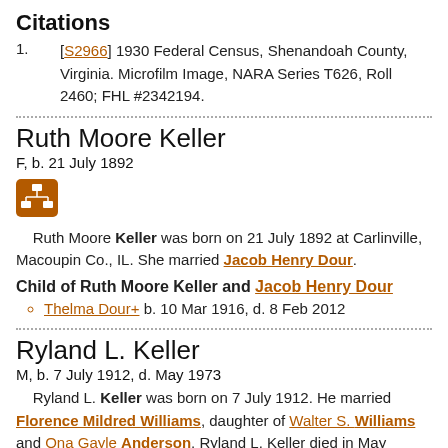Citations
[S2966] 1930 Federal Census, Shenandoah County, Virginia. Microfilm Image, NARA Series T626, Roll 2460; FHL #2342194.
Ruth Moore Keller
F, b. 21 July 1892
[Figure (illustration): Orange icon button with a family tree / hierarchy symbol (boxes and lines)]
Ruth Moore Keller was born on 21 July 1892 at Carlinville, Macoupin Co., IL. She married Jacob Henry Dour.
Child of Ruth Moore Keller and Jacob Henry Dour
Thelma Dour+ b. 10 Mar 1916, d. 8 Feb 2012
Ryland L. Keller
M, b. 7 July 1912, d. May 1973
Ryland L. Keller was born on 7 July 1912. He married Florence Mildred Williams, daughter of Walter S. Williams and Ona Gayle Anderson. Ryland L. Keller died in May